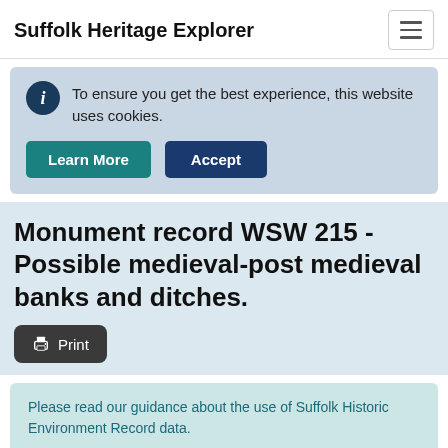Suffolk Heritage Explorer
To ensure you get the best experience, this website uses cookies.
Learn More  Accept
Monument record WSW 215 - Possible medieval-post medieval banks and ditches.
Print
Please read our guidance about the use of Suffolk Historic Environment Record data.